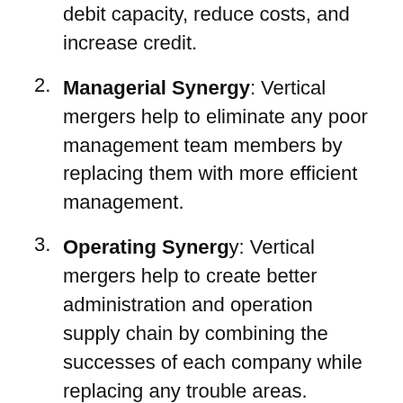debit capacity, reduce costs, and increase credit.
Managerial Synergy: Vertical mergers help to eliminate any poor management team members by replacing them with more efficient management.
Operating Synergy: Vertical mergers help to create better administration and operation supply chain by combining the successes of each company while replacing any trouble areas.
How Does a Company Benefit from a Vertical Merger?